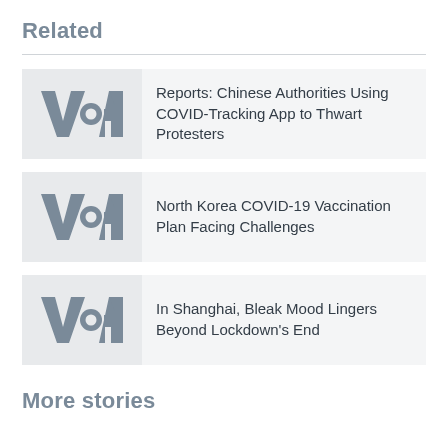Related
[Figure (logo): VOA (Voice of America) logo, grey color on light grey background]
Reports: Chinese Authorities Using COVID-Tracking App to Thwart Protesters
[Figure (logo): VOA (Voice of America) logo, grey color on light grey background]
North Korea COVID-19 Vaccination Plan Facing Challenges
[Figure (logo): VOA (Voice of America) logo, grey color on light grey background]
In Shanghai, Bleak Mood Lingers Beyond Lockdown's End
More stories